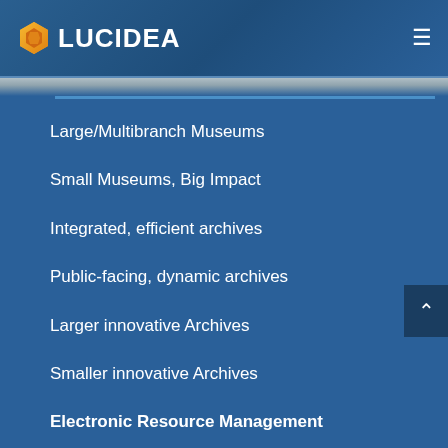LUCIDEA
Large/Multibranch Museums
Small Museums, Big Impact
Integrated, efficient archives
Public-facing, dynamic archives
Larger innovative Archives
Smaller innovative Archives
Electronic Resource Management